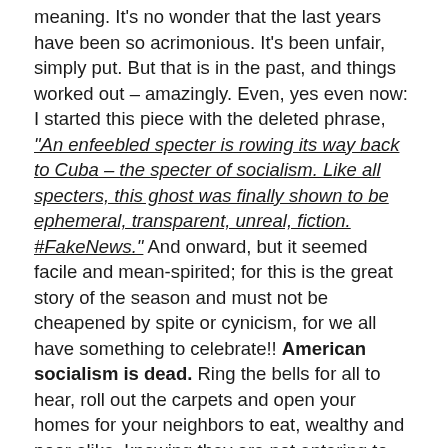meaning. It's no wonder that the last years have been so acrimonious. It's been unfair, simply put. But that is in the past, and things worked out – amazingly. Even, yes even now: I started this piece with the deleted phrase, "An enfeebled specter is rowing its way back to Cuba – the specter of socialism. Like all specters, this ghost was finally shown to be ephemeral, transparent, unreal, fiction. #FakeNews." And onward, but it seemed facile and mean-spirited; for this is the great story of the season and must not be cheapened by spite or cynicism, for we all have something to celebrate!! American socialism is dead. Ring the bells for all to hear, roll out the carpets and open your homes for your neighbors to eat, wealthy and poor alike, knowing they are not entering to measure the drapes or with an eye thrown askance upon the silver. American socialism is dead, because it never was. We are not a thieving people; we are not a greedy people; we are